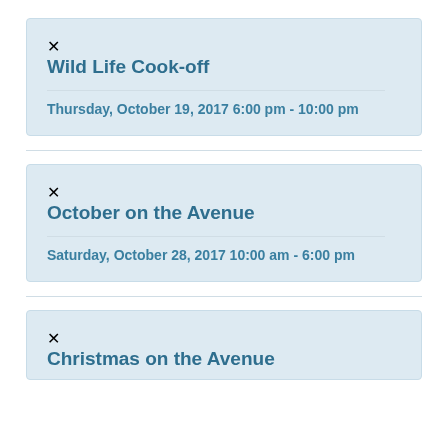Wild Life Cook-off
Thursday, October 19, 2017 6:00 pm - 10:00 pm
October on the Avenue
Saturday, October 28, 2017 10:00 am - 6:00 pm
Christmas on the Avenue